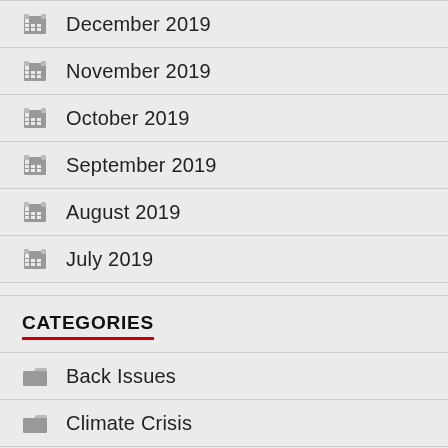December 2019
November 2019
October 2019
September 2019
August 2019
July 2019
CATEGORIES
Back Issues
Climate Crisis